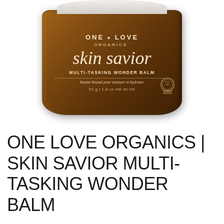[Figure (photo): Product photo of One Love Organics Skin Savior Multi-Tasking Wonder Balm in an amber glass jar with cream-colored lid. Label reads: ONE LOVE ORGANICS, skin savior, MULTI-TASKING WONDER BALM, baume beauté pour nettoyer et hydrater, 51 g | 1.8 oz net wt US. Eco-cert badge visible on right side of label.]
ONE LOVE ORGANICS | SKIN SAVIOR MULTI-TASKING WONDER BALM